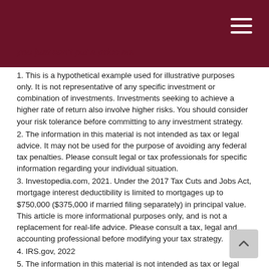you just can't put a price on.
1. This is a hypothetical example used for illustrative purposes only. It is not representative of any specific investment or combination of investments. Investments seeking to achieve a higher rate of return also involve higher risks. You should consider your risk tolerance before committing to any investment strategy.
2. The information in this material is not intended as tax or legal advice. It may not be used for the purpose of avoiding any federal tax penalties. Please consult legal or tax professionals for specific information regarding your individual situation.
3. Investopedia.com, 2021. Under the 2017 Tax Cuts and Jobs Act, mortgage interest deductibility is limited to mortgages up to $750,000 ($375,000 if married filing separately) in principal value. This article is more informational purposes only, and is not a replacement for real-life advice. Please consult a tax, legal and accounting professional before modifying your tax strategy.
4. IRS.gov, 2022
5. The information in this material is not intended as tax or legal advice. It may not be used for the purpose of avoiding any federal tax penalties.